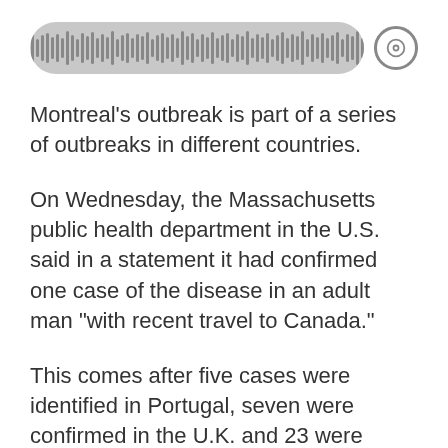[Figure (other): Audio player waveform bar with circular icon button on the right]
Montreal's outbreak is part of a series of outbreaks in different countries.
On Wednesday, the Massachusetts public health department in the U.S. said in a statement it had confirmed one case of the disease in an adult man "with recent travel to Canada."
This comes after five cases were identified in Portugal, seven were confirmed in the U.K. and 23 were flagged in Spain.
Health officials are investigating whether the cases in North America are linked to the